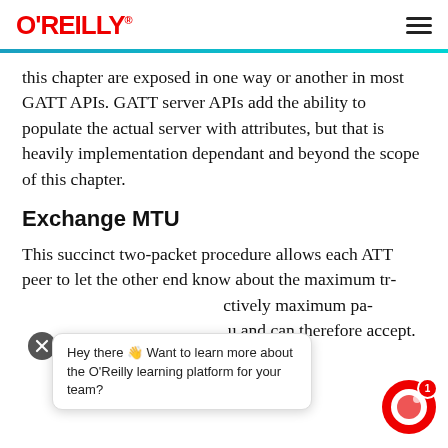O'REILLY
this chapter are exposed in one way or another in most GATT APIs. GATT server APIs add the ability to populate the actual server with attributes, but that is heavily implementation dependant and beyond the scope of this chapter.
Exchange MTU
This succinct two-packet procedure allows each ATT peer to let the other end know about the maximum tr... ctively maximum pa... u and can therefore accept.